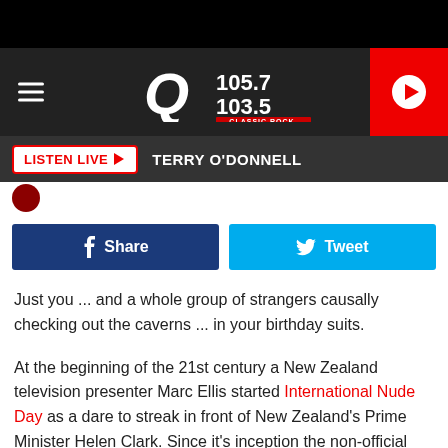[Figure (screenshot): Q105.7/103.5 Classic Rock radio station header banner with hamburger menu, station logo, and red play button]
LISTEN LIVE ▶  TERRY O'DONNELL
[Figure (screenshot): Social share buttons: blue Facebook Share button and cyan Twitter Tweet button]
Just you ... and a whole group of strangers causally checking out the caverns ... in your birthday suits.
At the beginning of the 21st century a New Zealand television presenter Marc Ellis started International Nude Day as a dare to streak in front of New Zealand's Prime Minister Helen Clark. Since it's inception the non-official holiday is celebrated in over 30 countries.